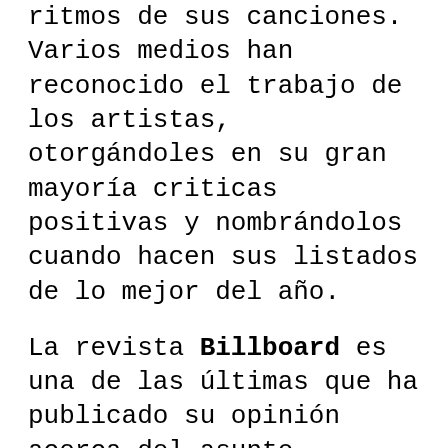ritmos de sus canciones. Varios medios han reconocido el trabajo de los artistas, otorgándoles en su gran mayoría criticas positivas y nombrándolos cuando hacen sus listados de lo mejor del año.
La revista Billboard es una de las últimas que ha publicado su opinión acerca del asunto, revelando un listado de las mejores canciones del 2017 basándose en la opinión de sus críticos especializados.
Cada uno de los artistas en la lista ha lanzado increíbles proyectos este año, que han sido bastante aclamados por diversos medios. En ella resaltan